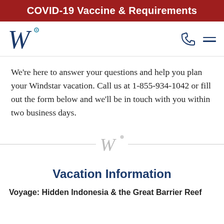COVID-19 Vaccine & Requirements
[Figure (logo): Windstar Cruises W logo in navy blue with teal accent dot, top left of navigation bar]
We're here to answer your questions and help you plan your Windstar vacation. Call us at 1-855-934-1042 or fill out the form below and we'll be in touch with you within two business days.
[Figure (logo): Windstar Cruises W logo in gray as a divider ornament between horizontal lines]
Vacation Information
Voyage: Hidden Indonesia & the Great Barrier Reef